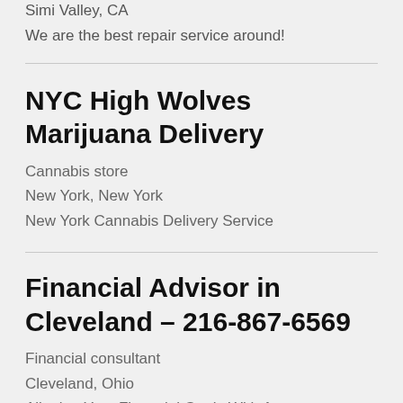Simi Valley, CA
We are the best repair service around!
NYC High Wolves Marijuana Delivery
Cannabis store
New York, New York
New York Cannabis Delivery Service
Financial Advisor in Cleveland – 216-867-6569
Financial consultant
Cleveland, Ohio
Aligning Your Financial Goals With A